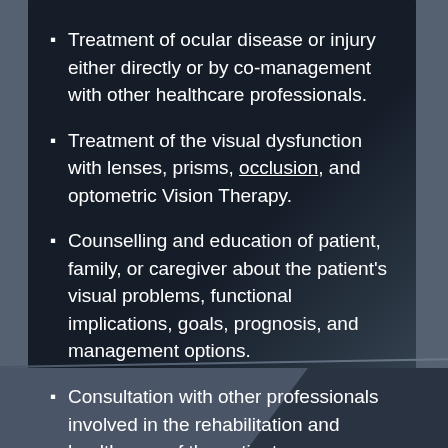Treatment of ocular disease or injury either directly or by co-management with other healthcare professionals.
Treatment of the visual dysfunction with lenses, prisms, occlusion, and optometric Vision Therapy.
Counselling and education of patient, family, or caregiver about the patient's visual problems, functional implications, goals, prognosis, and management options.
Consultation with other professionals involved in the rehabilitation and health care of the patient.